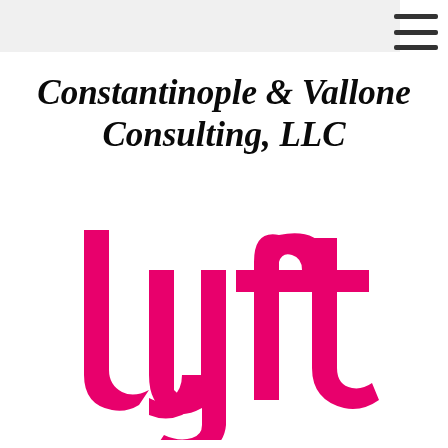Constantinople & Vallone Consulting, LLC
[Figure (logo): Lyft logo in magenta/pink color on white background]